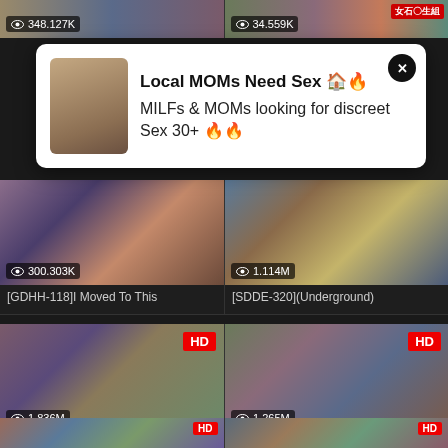[Figure (screenshot): Top partial row of two video thumbnails with view counts: 348.127K and 34.559K]
[Figure (screenshot): Advertisement popup overlay: Local MOMs Need Sex, MILFs & MOMs looking for discreet Sex 30+, with close button]
[Figure (screenshot): Video thumbnail grid row: [GDHH-118] I Moved To This with 300.303K views, [SDDE-320](Underground) with 1.114M views]
[Figure (screenshot): Video thumbnail grid row: [HUNTA-297] We Shouldn't with 1.836M views HD badge, [MZQ-071] All Peeping with 1.265M views HD badge]
[Figure (screenshot): Bottom partial row of two video thumbnails both with HD badges]